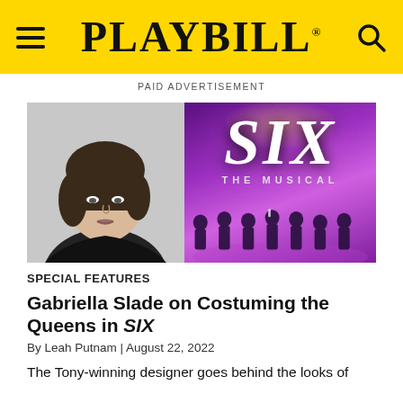PLAYBILL
PAID ADVERTISEMENT
[Figure (photo): Left: Black and white headshot of Gabriella Slade. Right: SIX The Musical promotional poster with performers in purple-lit stage costumes.]
SPECIAL FEATURES
Gabriella Slade on Costuming the Queens in SIX
By Leah Putnam | August 22, 2022
The Tony-winning designer goes behind the looks of